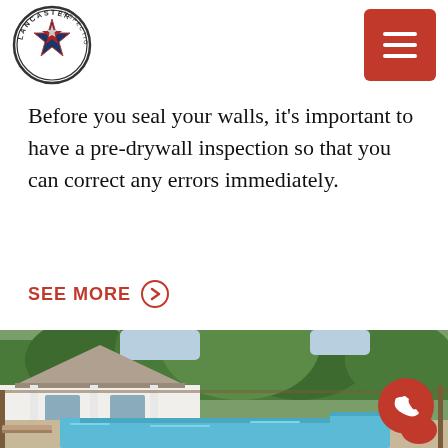[Figure (logo): Lancaster Inspection Co. circular logo with star]
[Figure (other): Red hamburger menu button (three white lines on red square)]
Before you seal your walls, it's important to have a pre-drywall inspection so that you can correct any errors immediately.
SEE MORE →
[Figure (photo): Outdoor backyard photo showing a white house with a swimming pool, patio furniture, and trees in the background]